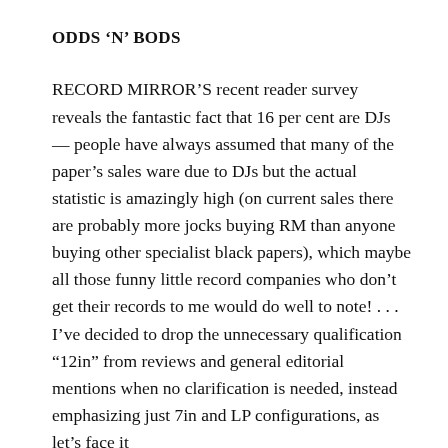ODDS ‘N’ BODS
RECORD MIRROR’S recent reader survey reveals the fantastic fact that 16 per cent are DJs — people have always assumed that many of the paper’s sales ware due to DJs but the actual statistic is amazingly high (on current sales there are probably more jocks buying RM than anyone buying other specialist black papers), which maybe all those funny little record companies who don’t get their records to me would do well to note! . . . I’ve decided to drop the unnecessary qualification “12in” from reviews and general editorial mentions when no clarification is needed, instead emphasizing just 7in and LP configurations, as let’s face it